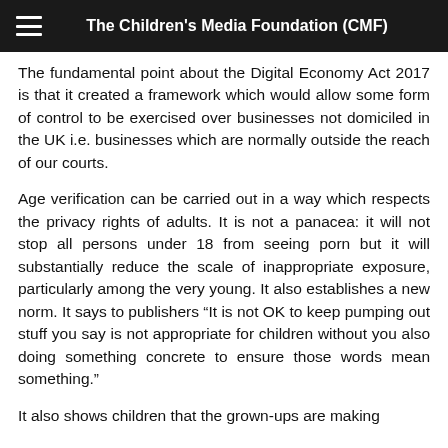The Children's Media Foundation (CMF)
The fundamental point about the Digital Economy Act 2017 is that it created a framework which would allow some form of control to be exercised over businesses not domiciled in the UK i.e. businesses which are normally outside the reach of our courts.
Age verification can be carried out in a way which respects the privacy rights of adults. It is not a panacea: it will not stop all persons under 18 from seeing porn but it will substantially reduce the scale of inappropriate exposure, particularly among the very young. It also establishes a new norm. It says to publishers “It is not OK to keep pumping out stuff you say is not appropriate for children without you also doing something concrete to ensure those words mean something.”
It also shows children that the grown-ups are making